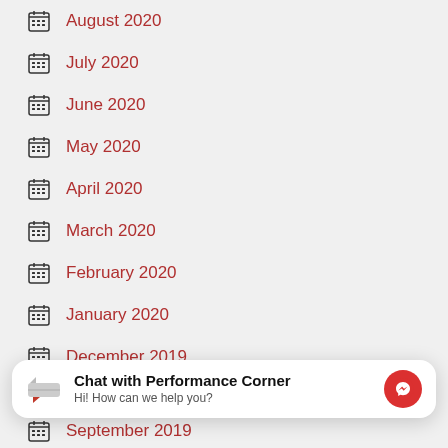August 2020
July 2020
June 2020
May 2020
April 2020
March 2020
February 2020
January 2020
December 2019
November 2019
Chat with Performance Corner
Hi! How can we help you?
September 2019